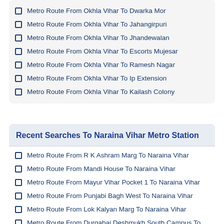Metro Route From Okhla Vihar To Dwarka Mor
Metro Route From Okhla Vihar To Jahangirpuri
Metro Route From Okhla Vihar To Jhandewalan
Metro Route From Okhla Vihar To Escorts Mujesar
Metro Route From Okhla Vihar To Ramesh Nagar
Metro Route From Okhla Vihar To Ip Extension
Metro Route From Okhla Vihar To Kailash Colony
Recent Searches To Naraina Vihar Metro Station
Metro Route From R K Ashram Marg To Naraina Vihar
Metro Route From Mandi House To Naraina Vihar
Metro Route From Mayur Vihar Pocket 1 To Naraina Vihar
Metro Route From Punjabi Bagh West To Naraina Vihar
Metro Route From Lok Kalyan Marg To Naraina Vihar
Metro Route From Durgabai Deshmukh South Campus To